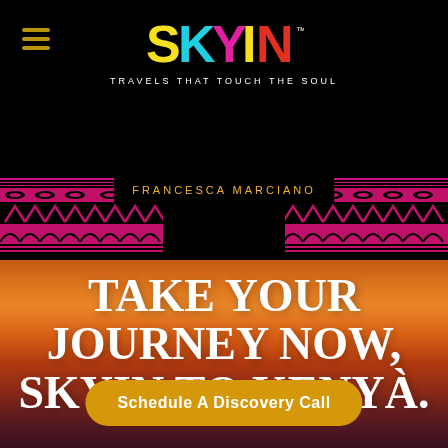[Figure (logo): SKYIN logo with colorful letters and tagline TRAVELS THAT TOUCH THE SOUL on black background]
[Figure (illustration): African tribal pattern banner in pink/magenta on black with geometric shapes, diamonds, chevrons, and semicircles]
FRANCESCA MARCIANO
[Figure (photo): Sunset sky background in warm orange, amber, and purple tones]
TAKE YOUR JOURNEY NOW, SKYIN TO KENYA.
Schedule A Discovery Call